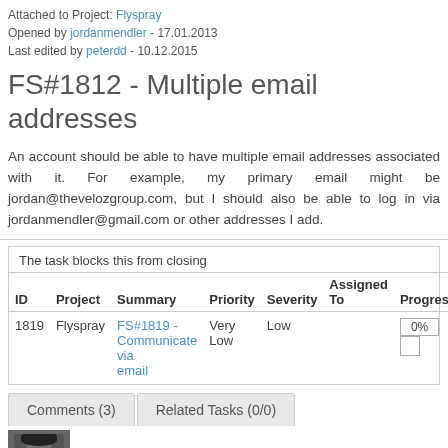Attached to Project: Flyspray
Opened by jordanmendler - 17.01.2013
Last edited by peterdd - 10.12.2015
FS#1812 - Multiple email addresses
An account should be able to have multiple email addresses associated with it. For example, my primary email might be jordan@thevelozgroup.com, but I should also be able to log in via jordanmendler@gmail.com or other addresses I add.
The task blocks this from closing
| ID | Project | Summary | Priority | Severity | Assigned To | Progress |
| --- | --- | --- | --- | --- | --- | --- |
| 1819 | Flyspray | FS#1819 - Communicate via email | Very Low | Low |  | 0% |
Comments (3)   Related Tasks (0/0)